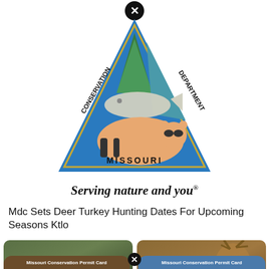[Figure (logo): Missouri Conservation Department triangular logo with wildlife (deer, fish, raccoon) and text 'CONSERVATION DEPARTMENT MISSOURI' around the triangle, with a black X circle at the top]
Serving nature and you®
Mdc Sets Deer Turkey Hunting Dates For Upcoming Seasons Ktlo
[Figure (photo): Missouri Conservation permit card with fish photo background showing: Conservation #: 877678014, HUNTER N FISHER, Date of Birth: 05/03/1953, Hunter Ed #: MO 3462298073, Bow Hunter Ed #: MO 9087675632]
[Figure (photo): Missouri Conservation permit card with deer photo background showing: Conservation #: 877678014, HUNTER N FISHER, Date of Birth: 05/03/1953, Hunter Ed #: MO 3462298073, Bow Hunter Ed #: MO 9087675632]
Missouri Conservation Permit Card
Missouri Conservation Permit Card